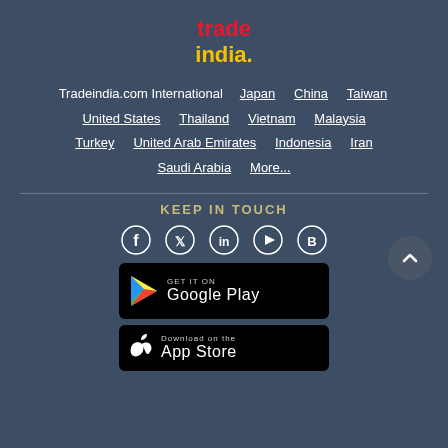[Figure (logo): TradeIndia logo with red 'trade' text and yellow 'india.' text]
Tradeindia.com International  Japan  China  Taiwan  United States  Thailand  Vietnam  Malaysia  Turkey  United Arab Emirates  Indonesia  Iran  Saudi Arabia  More...
KEEP IN TOUCH
[Figure (infographic): Social media icons: Facebook, Twitter, LinkedIn, YouTube, Blogger]
[Figure (other): Get it on Google Play badge]
[Figure (other): App Store badge (partially visible)]